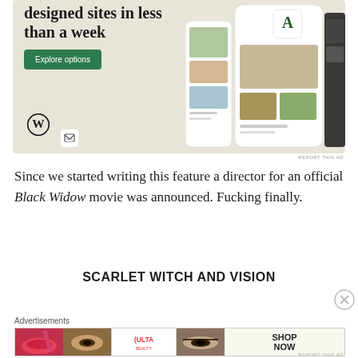[Figure (screenshot): WordPress advertisement banner showing 'designed sites in less than a week' with an 'Explore options' green button, WordPress logo, and a mockup of a food website on a tablet/phone. Beige/cream background.]
Since we started writing this feature a director for an official Black Widow movie was announced. Fucking finally.
SCARLET WITCH AND VISION
[Figure (photo): Ulta Beauty advertisement banner showing close-up images of lips with lipstick, makeup brushes, eyes with eyeliner, Ulta logo, eyes closeup, and 'SHOP NOW' text.]